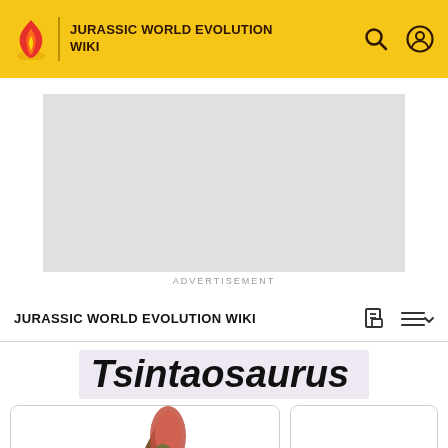JURASSIC WORLD EVOLUTION WIKI
[Figure (other): Advertisement placeholder box, gray rectangle]
ADVERTISEMENT
JURASSIC WORLD EVOLUTION WIKI
Tsintaosaurus
[Figure (photo): Tsintaosaurus dinosaur illustration showing the head and crest, brown/reddish coloring]
[Figure (photo): Second Tsintaosaurus dinosaur illustration, partially visible on right side]